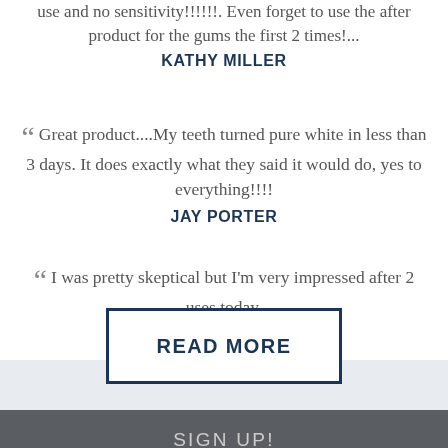use and no sensitivity!!!!!!. Even forget to use the after product for the gums the first 2 times!...
KATHY MILLER
Great product....My teeth turned pure white in less than 3 days. It does exactly what they said it would do, yes to everything!!!!
JAY PORTER
I was pretty skeptical but I'm very impressed after 2 uses today.
READ MORE
SIGN UP!